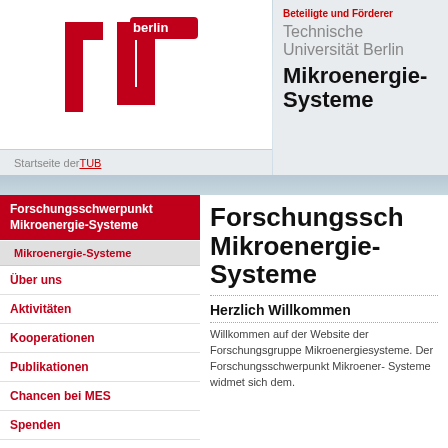[Figure (logo): TU Berlin red logo mark with 'berlin' text]
Startseite der TUB
Beteiligte und Förderer
Technische Universität Berlin Mikroenergie-Systeme
Forschungsschwerpunkt Mikroenergie-Systeme
Mikroenergie-Systeme
Über uns
Aktivitäten
Kooperationen
Publikationen
Chancen bei MES
Spenden
Forschungsschwerpunkt Mikroenergie-Systeme
Herzlich Willkommen
Willkommen auf der Website der Forschungsgruppe Mikroenergiesysteme. Der Forschungsschwerpunkt Mikroener- Systeme widmet sich dem.